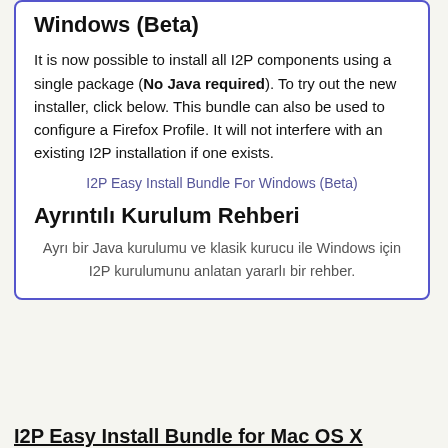Windows (Beta)
It is now possible to install all I2P components using a single package (No Java required). To try out the new installer, click below. This bundle can also be used to configure a Firefox Profile. It will not interfere with an existing I2P installation if one exists.
I2P Easy Install Bundle For Windows (Beta)
Ayrıntılı Kurulum Rehberi
Ayrı bir Java kurulumu ve klasik kurucu ile Windows için I2P kurulumunu anlatan yararlı bir rehber.
I2P Easy Install Bundle for Mac OS X